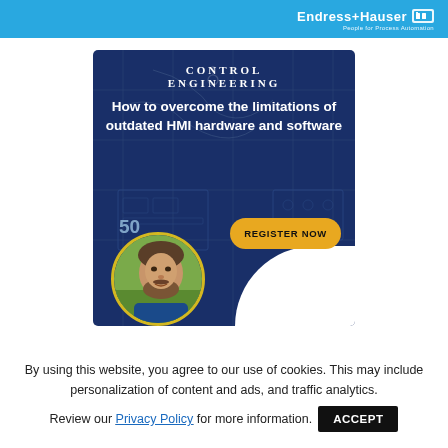Endress+Hauser — People for Process Automation
[Figure (infographic): Control Engineering advertisement: 'How to overcome the limitations of outdated HMI hardware and software' with a Register Now button and a photo of a man]
By using this website, you agree to our use of cookies. This may include personalization of content and ads, and traffic analytics.
Review our Privacy Policy for more information. ACCEPT